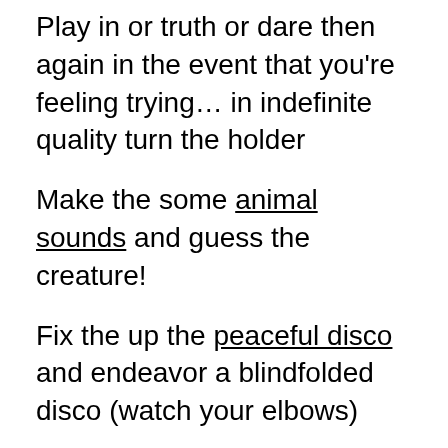Play in or truth or dare then again in the event that you’re feeling trying… in indefinite quality turn the holder
Make the some animal sounds and guess the creature!
Fix the up the peaceful disco and endeavor a blindfolded disco (watch your elbows)
Get to back to fundamentals with some more established style prepackaged games like scrabble, Pictionary or Cluedo
Don’t play poker, UNO or Go Fish and give